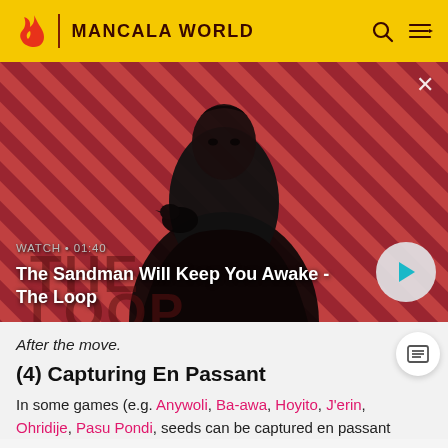MANCALA WORLD
[Figure (screenshot): Hero video thumbnail showing a dark-cloaked figure with a raven on shoulder against a red striped background. Text overlay: WATCH • 01:40 / The Sandman Will Keep You Awake - The Loop]
The Sandman Will Keep You Awake - The Loop
After the move.
(4) Capturing En Passant
In some games (e.g. Anywoli, Ba-awa, Hoyito, J'erin, Ohridije, Pasu Pondi, seeds can be captured en passant